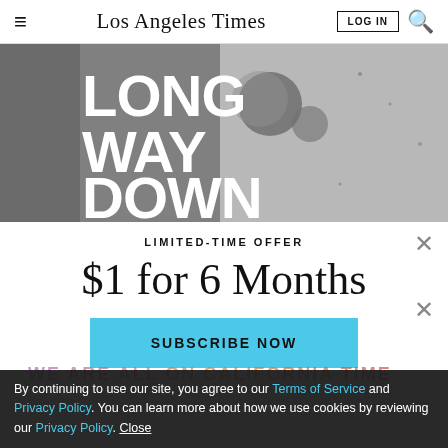Los Angeles Times
[Figure (photo): Black and white photo with large bold white text reading LONG WAY DOWN overlaid on a grungy metallic surface]
LIMITED-TIME OFFER
$1 for 6 Months
SUBSCRIBE NOW
By continuing to use our site, you agree to our Terms of Service and Privacy Policy. You can learn more about how we use cookies by reviewing our Privacy Policy. Close